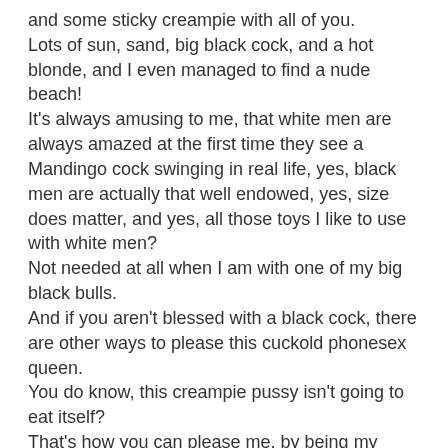and some sticky creampie with all of you. Lots of sun, sand, big black cock, and a hot blonde, and I even managed to find a nude beach! It's always amusing to me, that white men are always amazed at the first time they see a Mandingo cock swinging in real life, yes, black men are actually that well endowed, yes, size does matter, and yes, all those toys I like to use with white men? Not needed at all when I am with one of my big black bulls. And if you aren't blessed with a black cock, there are other ways to please this cuckold phonesex queen. You do know, this creampie pussy isn't going to eat itself? That's how you can please me, by being my creampie clean up boy. Now, just what is it about sloppy seconds that can get a strong reaction from any man? Is it knowing that another one of my lover's made me come over and over, your hot wife getting so much pleasure from someone who isn't you?